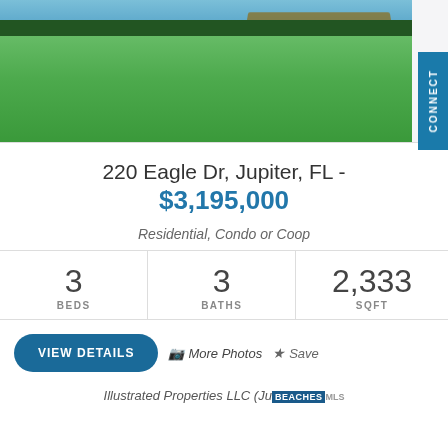[Figure (photo): Exterior photo of waterfront property showing green lawn, hedges, dock and water in background]
220 Eagle Dr, Jupiter, FL - $3,195,000
Residential, Condo or Coop
| BEDS | BATHS | SQFT |
| --- | --- | --- |
| 3 | 3 | 2,333 |
VIEW DETAILS  📷 More Photos  ☆ Save
Illustrated Properties LLC (Ju  BEACHES MLS